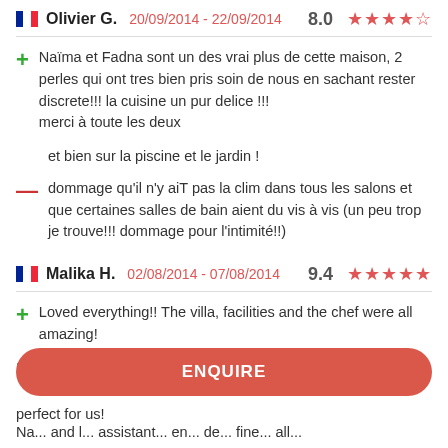Olivier G.  20/09/2014 - 22/09/2014  8.0  ★★★★☆
+ Naïma et Fadna sont un des vrai plus de cette maison, 2 perles qui ont tres bien pris soin de nous en sachant rester discrete!!! la cuisine un pur delice !!! merci à toute les deux
et bien sur la piscine et le jardin !
– dommage qu'il n'y aiT pas la clim dans tous les salons et que certaines salles de bain aient du vis à vis (un peu trop je trouve!!! dommage pour l'intimité!!)
Malika H.  02/08/2014 - 07/08/2014  9.4  ★★★★★
+ Loved everything!! The villa, facilities and the chef were all amazing!
I just wanted to thank you so much for making our
ENQUIRE
perfect for us!
Na... and... assistant... en... de... fine... all...